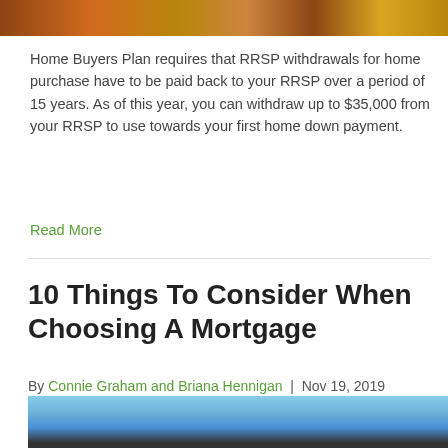[Figure (photo): Top portion of an image with warm golden/amber tones, appears to be a nighttime or sunset scene]
Home Buyers Plan requires that RRSP withdrawals for home purchase have to be paid back to your RRSP over a period of 15 years. As of this year, you can withdraw up to $35,000 from your RRSP to use towards your first home down payment.
Read More
10 Things To Consider When Choosing A Mortgage
By Connie Graham and Briana Hennigan | Nov 19, 2019
[Figure (other): Social media share icons: Facebook, Twitter, LinkedIn]
[Figure (photo): Bottom portion of an image showing blue sky with structural/industrial elements]